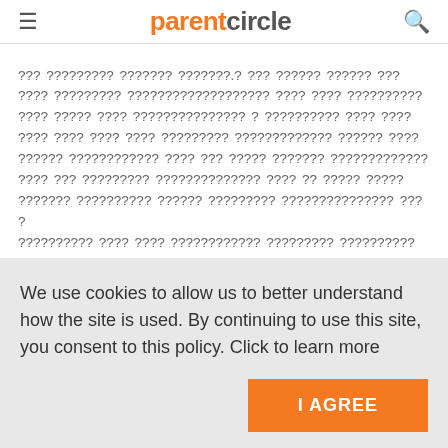parentcircle
??? ????????? ??????? ???????.? ??? ?????? ?????? ??? ???? ????????? ??????????????????? ???? ???? ?????????? ???? ????? ???? ??????????????? ? ?????????? ???? ???? ???? ???? ???? ???? ????????? ????????????? ?????? ???? ?????? ???????????? ???? ??? ????? ??????? ????????????? ???? ??? ????????? ?????????????? ???? ?? ????? ????? ??????? ?????????? ?????? ????????? ??????????????? ??? ? ?????????? ???? ???? ???????????? ????????? ?????????? ??????? ???????? ??? ?????????? ???????????????? ?????????????????? ???????? ???? ??????? ????????? ???????????? ??? ?????? ??? ????? ?? ???????? ???? ??????
We use cookies to allow us to better understand how the site is used. By continuing to use this site, you consent to this policy. Click to learn more
I AGREE